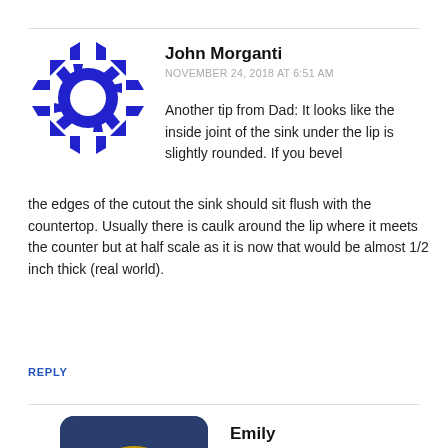John Morganti
NOVEMBER 24, 2018 AT 6:51 AM
Another tip from Dad: It looks like the inside joint of the sink under the lip is slightly rounded. If you bevel the edges of the cutout the sink should sit flush with the countertop. Usually there is caulk around the lip where it meets the counter but at half scale as it is now that would be almost 1/2 inch thick (real world).
REPLY
Emily
NOVEMBER 24, 2018 AT 9:32 AM
Good idea, I'll try it.